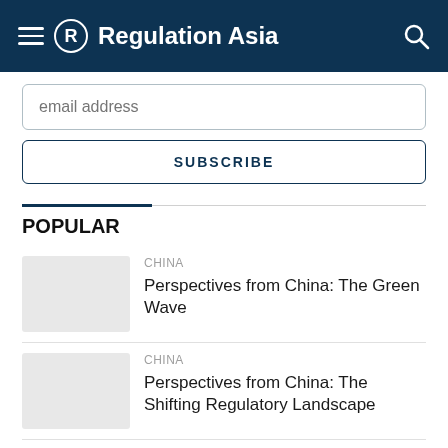Regulation Asia
email address
SUBSCRIBE
POPULAR
CHINA
Perspectives from China: The Green Wave
CHINA
Perspectives from China: The Shifting Regulatory Landscape
AML / KYC